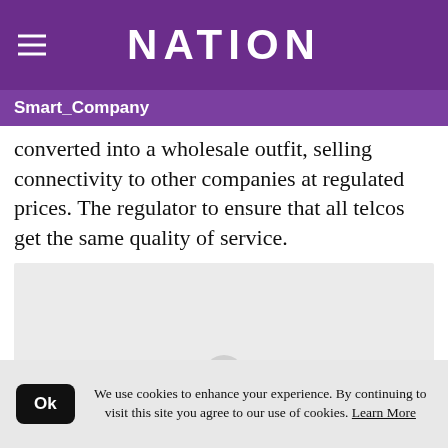NATION
Smart_Company
converted into a wholesale outfit, selling connectivity to other companies at regulated prices. The regulator to ensure that all telcos get the same quality of service.
[Figure (other): Gray placeholder image area with a partial circle element at the bottom center]
We use cookies to enhance your experience. By continuing to visit this site you agree to our use of cookies. Learn More